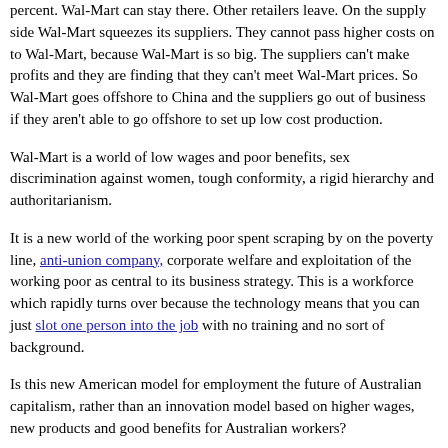percent. Wal-Mart can stay there. Other retailers leave. On the supply side Wal-Mart squeezes its suppliers. They cannot pass higher costs on to Wal-Mart, because Wal-Mart is so big. The suppliers can't make profits and they are finding that they can't meet Wal-Mart prices. So Wal-Mart goes offshore to China and the suppliers go out of business if they aren't able to go offshore to set up low cost production.
Wal-Mart is a world of low wages and poor benefits, sex discrimination against women, tough conformity, a rigid hierarchy and authoritarianism.
It is a new world of the working poor spent scraping by on the poverty line, anti-union company, corporate welfare and exploitation of the working poor as central to its business strategy. This is a workforce which rapidly turns over because the technology means that you can just slot one person into the job with no training and no sort of background.
Is this new American model for employment the future of Australian capitalism, rather than an innovation model based on higher wages, new products and good benefits for Australian workers?
-- Posted by Gary Sauer-Thompson at 07:27 AM | Comments [0] | TrackBack [0]